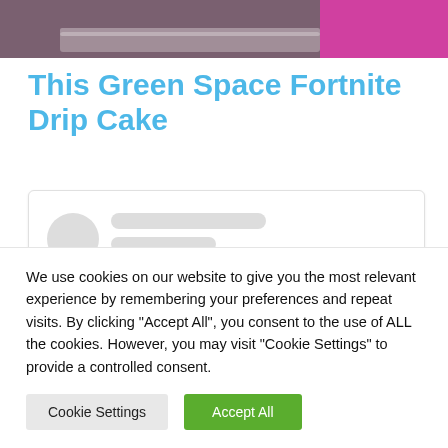[Figure (photo): Partial top view of a cake with purple/pink frosting and metallic edge, with a pink background on the right side.]
This Green Space Fortnite Drip Cake
[Figure (screenshot): Loading placeholder card with gray circular avatar and two gray skeleton lines, simulating a social media comment or profile card loading state.]
We use cookies on our website to give you the most relevant experience by remembering your preferences and repeat visits. By clicking "Accept All", you consent to the use of ALL the cookies. However, you may visit "Cookie Settings" to provide a controlled consent.